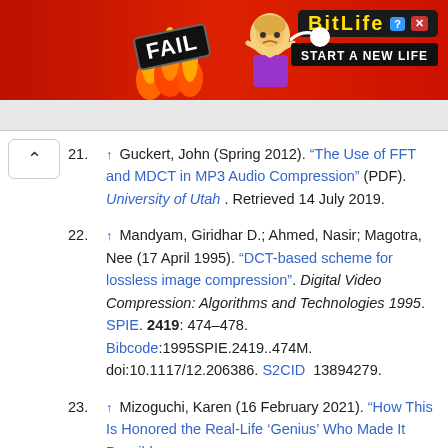[Figure (screenshot): Advertisement banner for BitLife mobile game. Red background with flames, cartoon character, FAIL label, and 'START A NEW LIFE' tagline with BitLife logo.]
21. ↑ Guckert, John (Spring 2012). "The Use of FFT and MDCT in MP3 Audio Compression" (PDF). University of Utah . Retrieved 14 July 2019.
22. ↑ Mandyam, Giridhar D.; Ahmed, Nasir; Magotra, Nee (17 April 1995). "DCT-based scheme for lossless image compression". Digital Video Compression: Algorithms and Technologies 1995. SPIE. 2419: 474–478. Bibcode:1995SPIE.2419..474M. doi:10.1117/12.206386. S2CID 13894279.
23. ↑ Mizoguchi, Karen (16 February 2021). "How This Is Honored the Real-Life 'Genius' Who Made It Possible